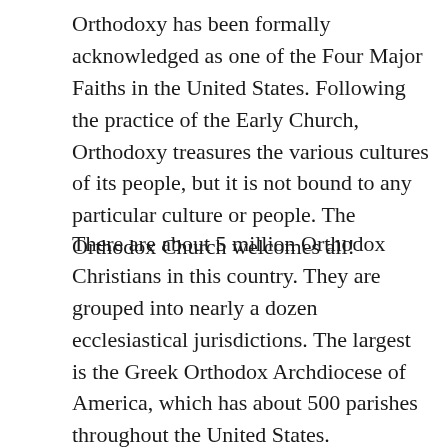Orthodoxy has been formally acknowledged as one of the Four Major Faiths in the United States. Following the practice of the Early Church, Orthodoxy treasures the various cultures of its people, but it is not bound to any particular culture or people. The Orthodox Church welcomes all!
There are about 5 million Orthodox Christians in this country. They are grouped into nearly a dozen ecclesiastical jurisdictions. The largest is the Greek Orthodox Archdiocese of America, which has about 500 parishes throughout the United States. Undoubtedly, the Primate of the Archdiocese, His Eminence Archbishop Iakovos, has been chiefly responsible for acquainting many non-Orthodox with the treasures of Orthodoxy.